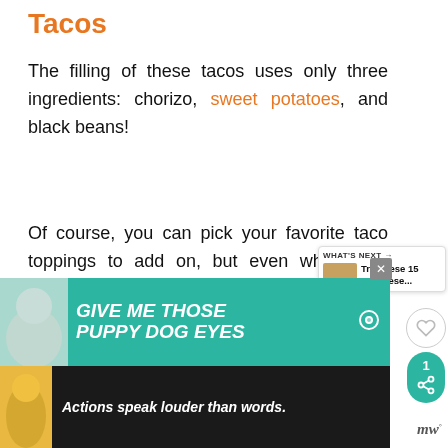Tacos
The filling of these tacos uses only three ingredients: chorizo, sweet potatoes, and black beans!
Of course, you can pick your favorite taco toppings to add on, but even when it is served with just the three ingredients on a corn tortilla, you have a winner on your hands!
[Figure (screenshot): Social sidebar with heart icon (1 like) and teal share button]
[Figure (screenshot): What's Next panel: Try These 15 Japanese... with food thumbnail]
[Figure (screenshot): Teal advertisement banner: GIVE ME THOSE PUPPY DOG EYES with dog image]
[Figure (screenshot): Dark bottom advertisement banner: Actions speak louder than words. with figure image and Merriam-Webster logo]